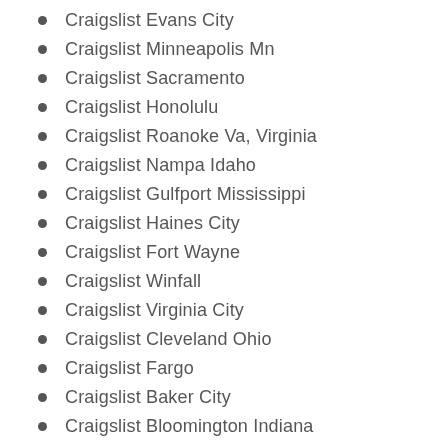Craigslist Evans City
Craigslist Minneapolis Mn
Craigslist Sacramento
Craigslist Honolulu
Craigslist Roanoke Va, Virginia
Craigslist Nampa Idaho
Craigslist Gulfport Mississippi
Craigslist Haines City
Craigslist Fort Wayne
Craigslist Winfall
Craigslist Virginia City
Craigslist Cleveland Ohio
Craigslist Fargo
Craigslist Baker City
Craigslist Bloomington Indiana